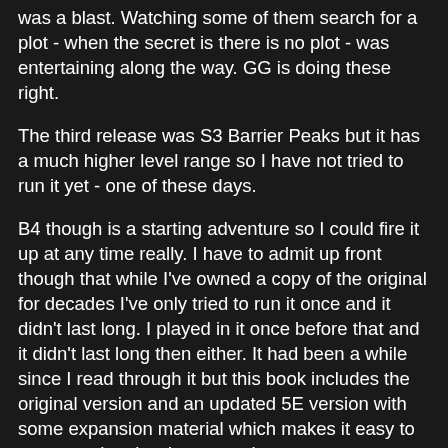was a blast. Watching some of them search for a plot - when the secret is there is no plot - was entertaining along the way. GG is doing these right.
The third release was S3 Barrier Peaks but it has a much higher level range so I have not tried to run it yet - one of these days.
B4 though is a starting adventure so I could fire it up at any time really. I have to admit up front though that while I've owned a copy of the original for decades I've only tried to run it once and it didn't last long. I played in it once before that and it didn't last long then either. It had been a while since I read through it but this book includes the original version and an updated 5E version with some expansion material which makes it easy to compare the classic versus the new.
Reading through it my old feelings crept back in from way back - I just don't like this adventure all that much. The original felt like half a module as it sketches out a massive underground city but it only details part of a dungeon, a ruined pyramid/temple, only fully details half of that structure.